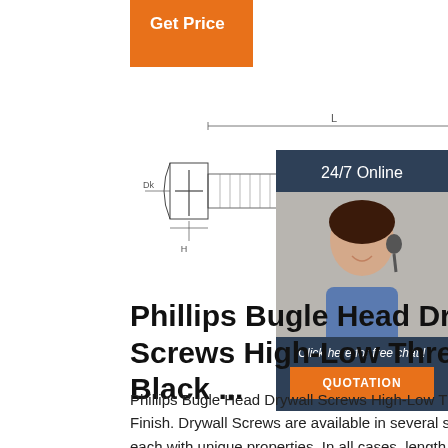Get Price
[Figure (engineering-diagram): Technical drawing of a Phillips Bugle Head Drywall Screw showing dimensions Dk, H, L, Dp with thread profile side view]
[Figure (photo): Photo of actual drywall screws on a surface]
[Figure (photo): 24/7 Online customer service representative with headset]
24/7 Online
Click here for free chat !
QUOTATION
Phillips Bugle Head Drywall Screws High-Low Thread, Black ...
Phillips Bugle Head Drywall Screws High-Low Thread, Black Phosphate Finish. Drywall Screws are available in several specialized varieties, each with unique properties. In all cases, length includes head height. Bugle Head screws are self countersinking and resist